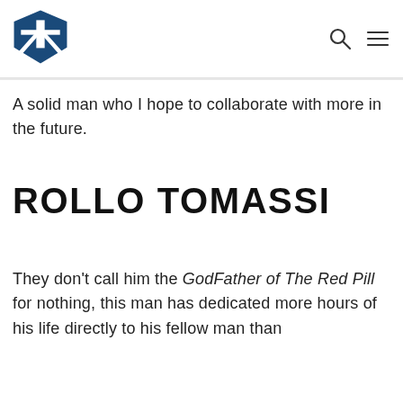[Logo] [Search icon] [Menu icon]
A solid man who I hope to collaborate with more in the future.
ROLLO TOMASSI
They don't call him the GodFather of The Red Pill for nothing, this man has dedicated more hours of his life directly to his fellow man than